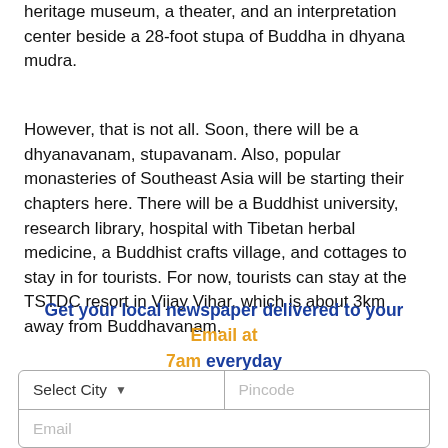heritage museum, a theater, and an interpretation center beside a 28-foot stupa of Buddha in dhyana mudra.
However, that is not all. Soon, there will be a dhyanavanam, stupavanam. Also, popular monasteries of Southeast Asia will be starting their chapters here. There will be a Buddhist university, research library, hospital with Tibetan herbal medicine, a Buddhist crafts village, and cottages to stay in for tourists. For now, tourists can stay at the TSTDC resort in Vijay Vihar, which is about 3km away from Buddhavanam.
Get your local newspaper delivered to your Email at 7am everyday
Select City | Pincode | Email